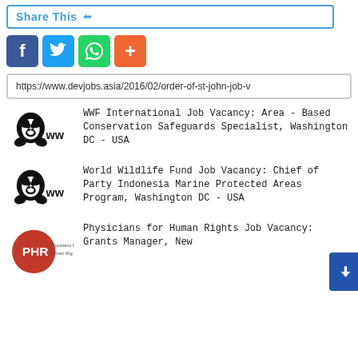Share This
[Figure (infographic): Social sharing buttons: Facebook (blue), Twitter (light blue), WhatsApp (green), Add/More (orange)]
https://www.devjobs.asia/2016/02/order-of-st-john-job-v
[Figure (logo): WWF logo with panda and 'ww' text]
WWF International Job Vacancy: Area - Based Conservation Safeguards Specialist, Washington DC - USA
[Figure (logo): WWF logo with panda and 'ww' text]
World Wildlife Fund Job Vacancy: Chief of Party Indonesia Marine Protected Areas Program, Washington DC - USA
[Figure (logo): PHR Physicians for Human Rights logo - red circle]
Physicians for Human Rights Job Vacancy: Grants Manager, New